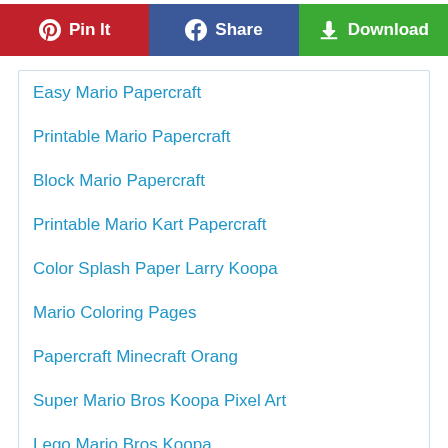[Figure (infographic): Three social sharing buttons: Pinterest Pin It (red), Facebook Share (blue), Download (green)]
Easy Mario Papercraft
Printable Mario Papercraft
Block Mario Papercraft
Printable Mario Kart Papercraft
Color Splash Paper Larry Koopa
Mario Coloring Pages
Papercraft Minecraft Orang
Super Mario Bros Koopa Pixel Art
Lego Mario Bros Koopa
Papercraft Minecraft Naruto